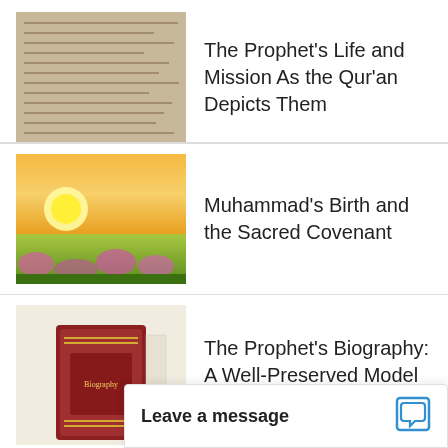[Figure (illustration): Thumbnail image of Arabic calligraphy/manuscript text]
The Prophet’s Life and Mission As the Qur’an Depicts Them
[Figure (photo): Thumbnail image of a field of flowers with golden sunset sky]
Muhammad’s Birth and the Sacred Covenant
[Figure (photo): Thumbnail image of a book (Prophet's biography)]
The Prophet’s Biography: A Well-Preserved Model for Mankind
[Figure (photo): Thumbnail image of a person raising hands at sunset]
Prophet Muhammad: The Perfect Family Man
[Figure (photo): Partial thumbnail image — bottom of page]
The P…
Leave a message